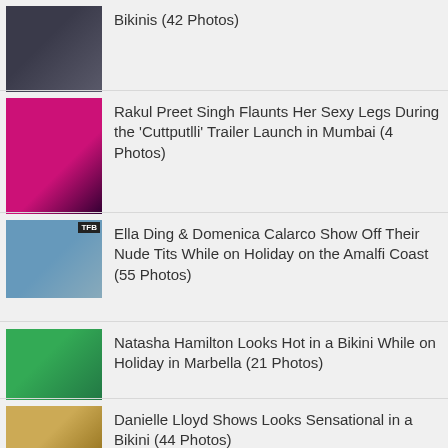Bikinis (42 Photos)
Rakul Preet Singh Flaunts Her Sexy Legs During the 'Cuttputlli' Trailer Launch in Mumbai (4 Photos)
Ella Ding & Domenica Calarco Show Off Their Nude Tits While on Holiday on the Amalfi Coast (55 Photos)
Natasha Hamilton Looks Hot in a Bikini While on Holiday in Marbella (21 Photos)
Danielle Lloyd Shows Looks Sensational in a Bikini (44 Photos)